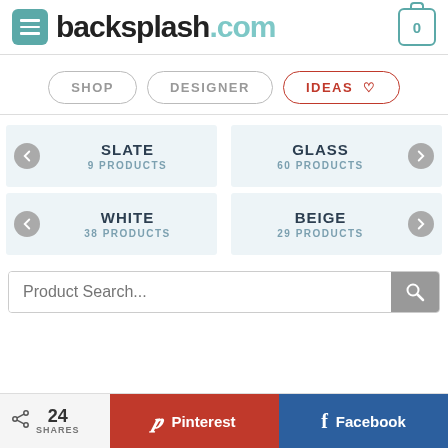[Figure (logo): backsplash.com logo with teal menu icon and cart icon]
[Figure (infographic): Navigation buttons: SHOP, DESIGNER, IDEAS with heart icon (IDEAS is active/red)]
SLATE 9 PRODUCTS
GLASS 60 PRODUCTS
WHITE 38 PRODUCTS
BEIGE 29 PRODUCTS
[Figure (screenshot): Product Search input bar with search icon]
24 SHARES  Pinterest  Facebook